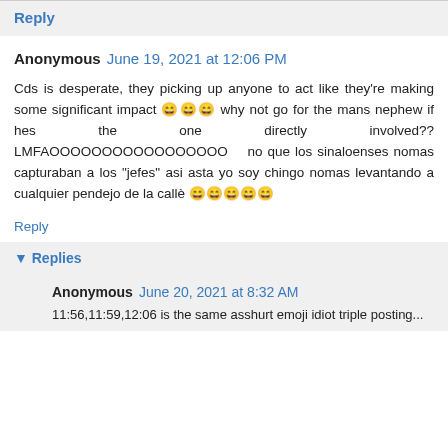Reply
Anonymous  June 19, 2021 at 12:06 PM
Cds is desperate, they picking up anyone to act like they're making some significant impact 😄😄😄 why not go for the mans nephew if hes the one directly involved?? LMFAOOOOOOOOOOOOOOOOO    no que los sinaloenses nomas capturaban a los "jefes" asi asta yo soy chingo nomas levantando a cualquier pendejo de la callè 😄😄😄😄😄
Reply
▾ Replies
Anonymous  June 20, 2021 at 8:32 AM
11:56,11:59,12:06 is the same asshurt emoji idiot triple posting...